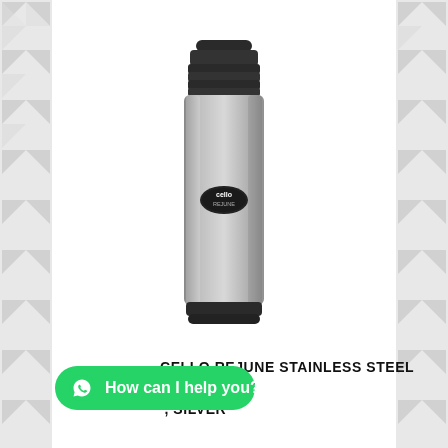[Figure (photo): Cello Rejune stainless steel travel mug/thermos flask with black plastic top and bottom sections and silver/metallic body with Cello Rejune logo badge, on white background with decorative geometric pattern border.]
CELLO REJUNE STAINLESS STEEL TEACHABLE , SILVER
How can I help you?